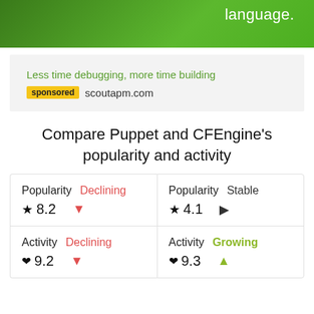language.
Less time debugging, more time building
sponsored scoutapm.com
Compare Puppet and CFEngine's popularity and activity
| Puppet |  |
| --- | --- |
| Popularity | Declining | ★ 8.2 | ▼ |
| Activity | Declining | ♥ 9.2 | ▼ |
| CFEngine |  |
| --- | --- |
| Popularity | Stable | ★ 4.1 | ▶ |
| Activity | Growing | ♥ 9.3 | ▲ |